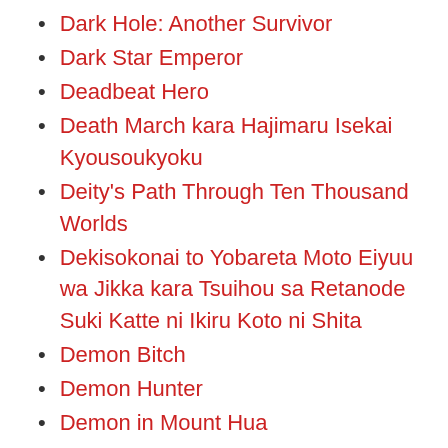Dark Hole: Another Survivor
Dark Star Emperor
Deadbeat Hero
Death March kara Hajimaru Isekai Kyousoukyoku
Deity's Path Through Ten Thousand Worlds
Dekisokonai to Yobareta Moto Eiyuu wa Jikka kara Tsuihou sa Retanode Suki Katte ni Ikiru Koto ni Shita
Demon Bitch
Demon Hunter
Demon in Mount Hua
Demon King Cheat System
Demon King Domination Pet: Genius Meng Bao Belly Black Mother
Demon Spirit Seed Manual